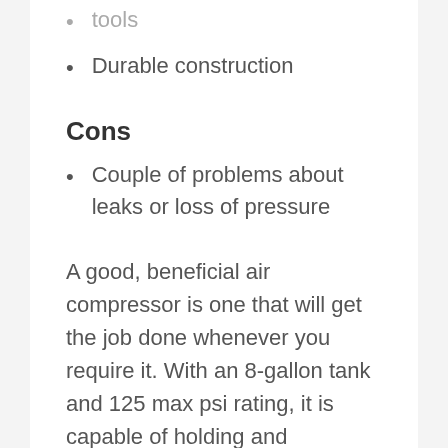tools
Durable construction
Cons
Couple of problems about leaks or loss of pressure
A good, beneficial air compressor is one that will get the job done whenever you require it. With an 8-gallon tank and 125 max psi rating, it is capable of holding and streaming air practically instantly. Big wheels and a rubber grip likewise make the compressor portable if you desire to move it around the garage or exterior.
Among the very best features of this compressor is its durability. Campbell